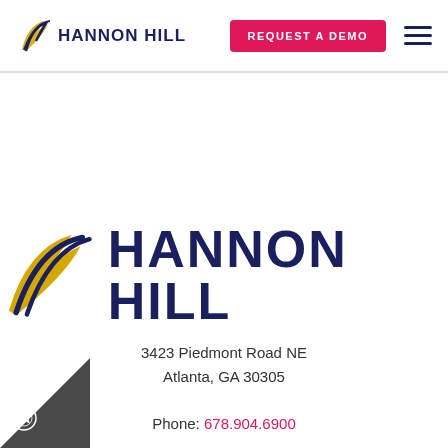[Figure (logo): Hannon Hill navigation logo with sailing/wing graphic and text HANNON HILL, plus REQUEST A DEMO pink button and hamburger menu]
[Figure (logo): Large Hannon Hill logo with gold and navy sailing/wing graphic and bold navy text HANNON HILL]
3423 Piedmont Road NE
Atlanta, GA 30305
Phone: 678.904.6900
Toll Free: 1.800.407.3540
Fax: 678.904.6901